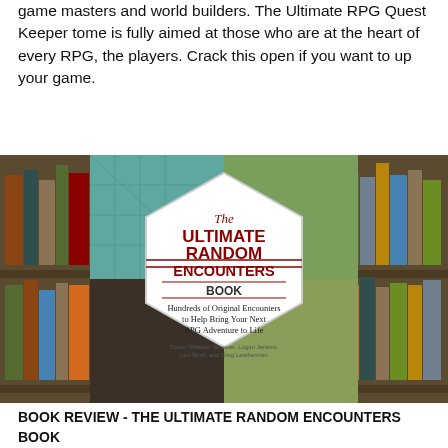game masters and world builders. The Ultimate RPG Quest Keeper tome is fully aimed at those who are at the heart of every RPG, the players. Crack this open if you want to up your game.
[Figure (photo): Book cover of 'The Ultimate Random Encounters Book' by Travis 'Wheels' Wheeler, Logan Jenkins, Len Terrill, and Greg Leatherman. The cover shows fantasy RPG battle maps as background collage including dungeon maps, outdoor maps, and overhead tactical maps. A white hexagon shape in the center contains the title text in dark red/maroon. The book is displayed against a library bookshelf background.]
BOOK REVIEW  - THE ULTIMATE RANDOM ENCOUNTERS BOOK